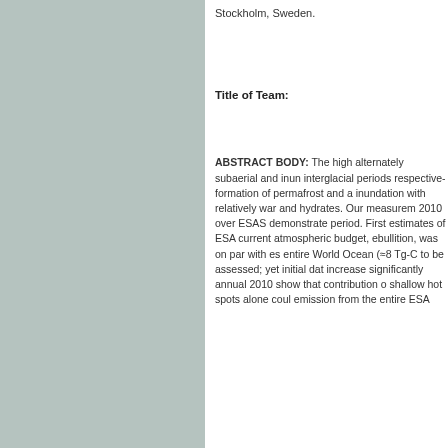Stockholm, Sweden.
Title of Team:
ABSTRACT BODY: The high alternately subaerial and inundated interglacial periods respectively formation of permafrost and a inundation with relatively warm and hydrates. Our measurements 2010 over ESAS demonstrate period. First estimates of ESA current atmospheric budget, ebullition, was on par with estimates entire World Ocean (≈8 Tg-C to be assessed; yet initial data increase significantly annually 2010 show that contribution of shallow hot spots alone could emission from the entire ESA